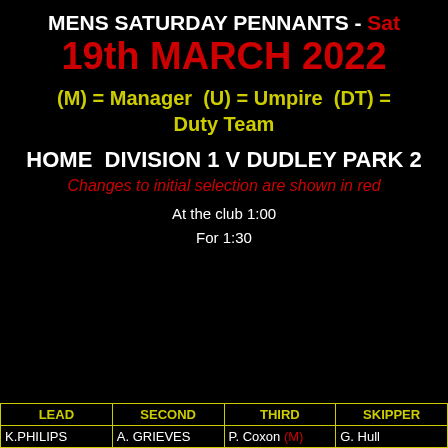MENS SATURDAY PENNANTS - Sat 19th MARCH 2022
(M) = Manager  (U) = Umpire  (DT) = Duty Team
HOME  DIVISION 1 V DUDLEY PARK 2
Changes to initial selection are shown in red
At the club 1:00
For 1:30
| LEAD | SECOND | THIRD | SKIPPER |
| --- | --- | --- | --- |
| K.PHILIPS | A. GRIEVES | P. Coxon (M) | G. Hull |